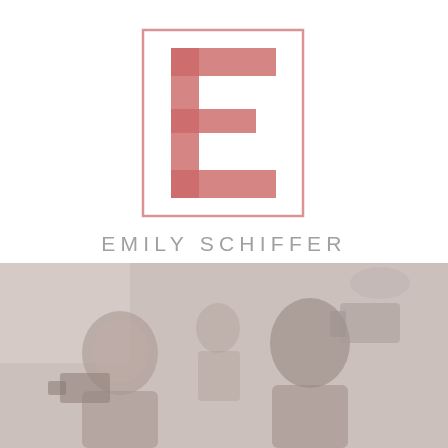[Figure (logo): Emily Schiffer brand logo: large stylized letter E in muted rose/salmon color inside a square border, with the name EMILY SCHIFFER in spaced uppercase gray sans-serif below]
[Figure (photo): Faded/washed-out photograph of people in a filming or photography studio setting, with cameras visible; muted pink-gray tones]